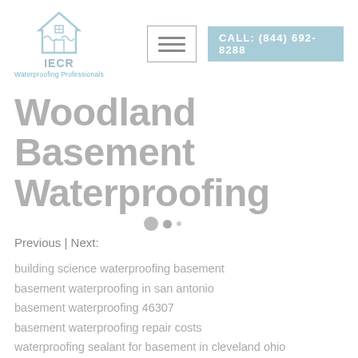[Figure (logo): IECR Waterproofing Professionals logo with house icon]
Woodland Basement Waterproofing
Previous | Next:
building science waterproofing basement
basement waterproofing in san antonio
basement waterproofing 46307
basement waterproofing repair costs
waterproofing sealant for basement in cleveland ohio
elastomeric waterproofing membrane basement